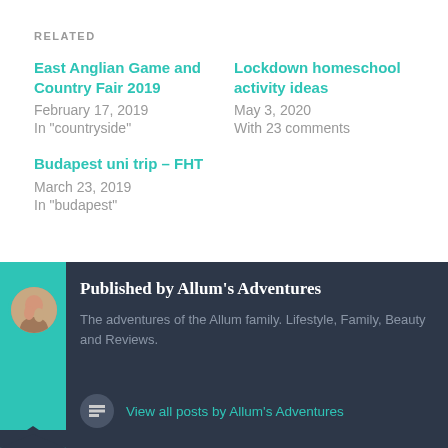RELATED
East Anglian Game and Country Fair 2019
February 17, 2019
In "countryside"
Lockdown homeschool activity ideas
May 3, 2020
With 23 comments
Budapest uni trip – FHT
March 23, 2019
In "budapest"
Published by Allum's Adventures
The adventures of the Allum family. Lifestyle, Family, Beauty and Reviews.
View all posts by Allum's Adventures